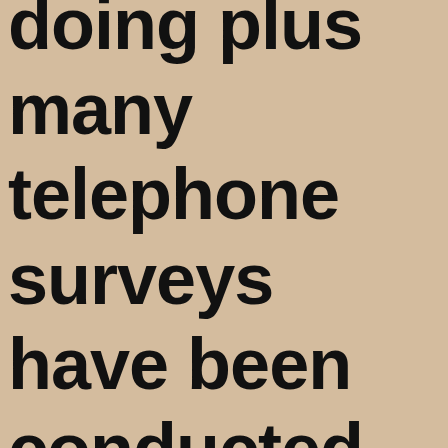doing plus many telephone surveys have been conducted to determine if what we were doing is working